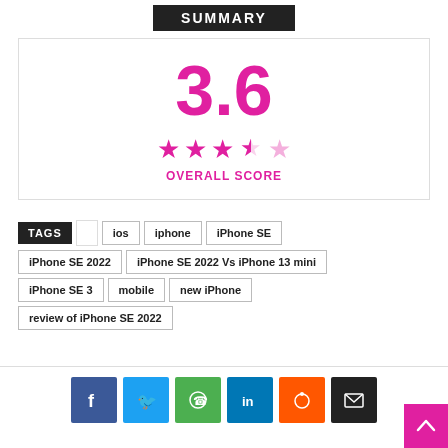SUMMARY
3.6
★★★½☆ OVERALL SCORE
TAGS | ios | iphone | iPhone SE | iPhone SE 2022 | iPhone SE 2022 Vs iPhone 13 mini | iPhone SE 3 | mobile | new iPhone | review of iPhone SE 2022
[Figure (infographic): Social sharing buttons: Facebook (blue), Twitter (light blue), WhatsApp (green), LinkedIn (dark blue), Reddit (orange), Email (black)]